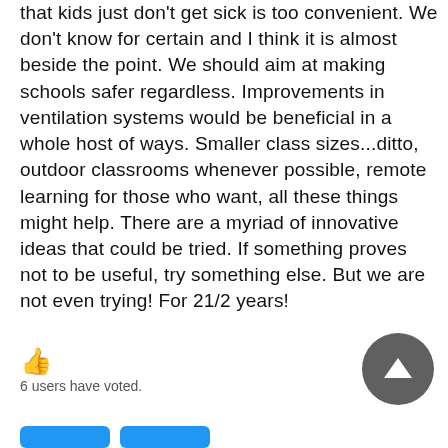that kids just don't get sick is too convenient. We don't know for certain and I think it is almost beside the point. We should aim at making schools safer regardless. Improvements in ventilation systems would be beneficial in a whole host of ways. Smaller class sizes...ditto, outdoor classrooms whenever possible, remote learning for those who want, all these things might help. There are a myriad of innovative ideas that could be tried. If something proves not to be useful, try something else. But we are not even trying! For 21/2 years!
👍 6 users have voted.